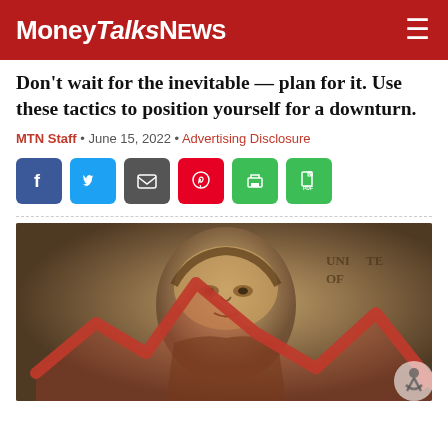MoneyTalksNews
Don't wait for the inevitable — plan for it. Use these tactics to position yourself for a downturn.
MTN Staff • June 15, 2022 • Advertising Disclosure
[Figure (screenshot): Social share buttons: Facebook, Twitter, Email, Pinterest, Print, PDF]
[Figure (photo): Close-up of a $100 bill with Benjamin Franklin's face, overlaid with a red downward-trending arrow chart graphic symbolizing a market downturn.]